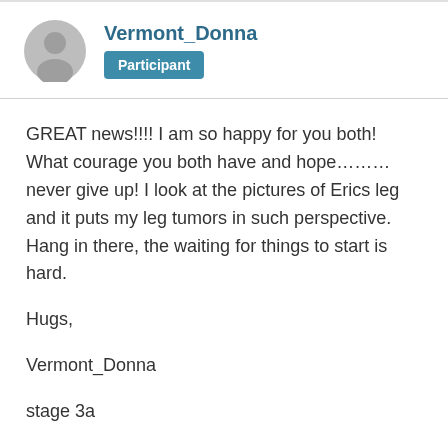[Figure (illustration): Gray circular avatar icon with a generic person silhouette]
Vermont_Donna
Participant
GREAT news!!!! I am so happy for you both! What courage you both have and hope………never give up! I look at the pictures of Erics leg and it puts my leg tumors in such perspective. Hang in there, the waiting for things to start is hard.

Hugs,

Vermont_Donna

stage 3a